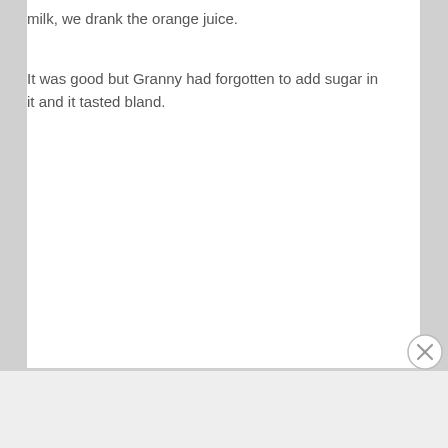milk, we drank the orange juice.
It was good but Granny had forgotten to add sugar in it and it tasted bland.
[Figure (other): Close/dismiss button circle with X]
Advertisements
[Figure (other): Advertisement banner: Launch your online course with WordPress. Learn More button.]
REPORT THIS AD